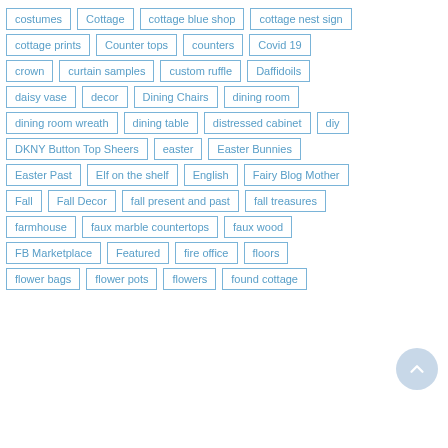costumes
Cottage
cottage blue shop
cottage nest sign
cottage prints
Counter tops
counters
Covid 19
crown
curtain samples
custom ruffle
Daffidoils
daisy vase
decor
Dining Chairs
dining room
dining room wreath
dining table
distressed cabinet
diy
DKNY Button Top Sheers
easter
Easter Bunnies
Easter Past
Elf on the shelf
English
Fairy Blog Mother
Fall
Fall Decor
fall present and past
fall treasures
farmhouse
faux marble countertops
faux wood
FB Marketplace
Featured
fire office
floors
flower bags
flower pots
flowers
found cottage